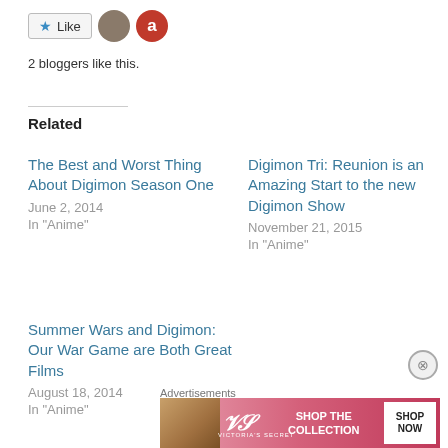[Figure (other): Like button with star icon and two blogger avatar images]
2 bloggers like this.
Related
The Best and Worst Thing About Digimon Season One
June 2, 2014
In "Anime"
Digimon Tri: Reunion is an Amazing Start to the new Digimon Show
November 21, 2015
In "Anime"
Summer Wars and Digimon: Our War Game are Both Great Films
August 18, 2014
In "Anime"
Advertisements
[Figure (other): Victoria's Secret advertisement banner with pink background, model photo, VS logo, SHOP THE COLLECTION text, and SHOP NOW button]